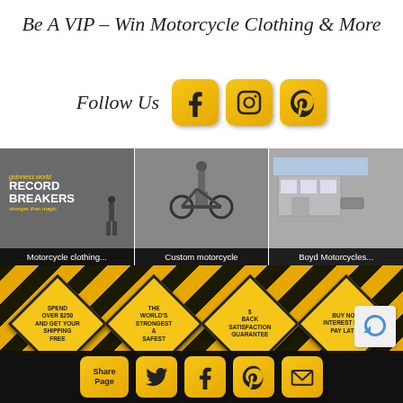Be A VIP – Win Motorcycle Clothing & More
Follow Us
[Figure (infographic): Three social media buttons: Facebook, Instagram, Pinterest in yellow/gold rounded square buttons]
[Figure (photo): Three photos side by side: 1) Record Breakers graffiti wall image with man standing, 2) Person with custom motorcycle and van, 3) Boyd Motorcycles storefront/parking lot]
Motorcycle clothing...
Custom motorcycle
Boyd Motorcycles...
[Figure (infographic): Yellow and black diagonal stripe background with four diamond-shaped warning signs: 'SPEND OVER $250 AND GET YOUR SHIPPING FREE', 'THE WORLD'S STRONGEST & SAFEST', '$ BACK SATISFACTION GUARANTEE', 'BUY NOW INTEREST FREE PAY LATER']
[Figure (infographic): Bottom social sharing bar with Share Page button, Twitter, Facebook, Pinterest, and email icon buttons in yellow/gold on black background]